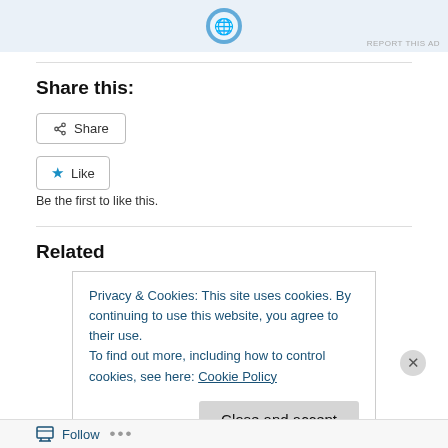[Figure (other): Ad banner area with a circular blue icon at top]
REPORT THIS AD
Share this:
[Figure (other): Share button with share icon]
[Figure (other): Like button with blue star icon]
Be the first to like this.
Related
Privacy & Cookies: This site uses cookies. By continuing to use this website, you agree to their use.
To find out more, including how to control cookies, see here: Cookie Policy
Close and accept
Follow